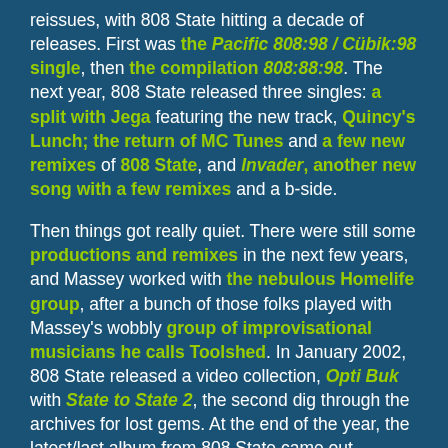reissues, with 808 State hitting a decade of releases. First was the Pacific 808:98 / Cübik:98 single, then the compilation 808:88:98. The next year, 808 State released three singles: a split with Jega featuring the new track, Quincy's Lunch; the return of MC Tunes and a few new remixes of 808 State, and Invader, another new song with a few remixes and a b-side.
Then things got really quiet. There were still some productions and remixes in the next few years, and Massey worked with the nebulous Homelife group, after a bunch of those folks played with Massey's wobbly group of improvisational musicians he calls Toolshed. In January 2002, 808 State released a video collection, Opti Buk with State to State 2, the second dig through the archives for lost gems. At the end of the year, the latest/last album from 808 State came out. Outpost Transmission [extended playlist], a return to bleepy form, while incorporating something of the current era's styles. The album opened with Simon Lord